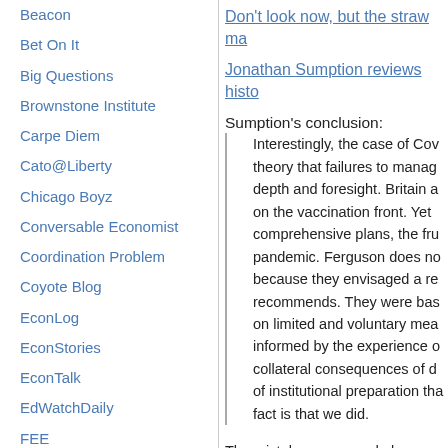Beacon
Bet On It
Big Questions
Brownstone Institute
Carpe Diem
Cato@Liberty
Chicago Boyz
Conversable Economist
Coordination Problem
Coyote Blog
EconLog
EconStories
EconTalk
EdWatchDaily
FEE
FRED Blog
Free Advice
Don't look now, but the straw ma...
Jonathan Sumption reviews histo...
Sumption's conclusion:
Interestingly, the case of Cov... theory that failures to manag... depth and foresight. Britain a... on the vaccination front. Yet ... comprehensive plans, the fru... pandemic. Ferguson does no... because they envisaged a re... recommends. They were bas... on limited and voluntary mea... informed by the experience o... collateral consequences of d... of institutional preparation tha... fact is that we did.
The mistakes were made b...